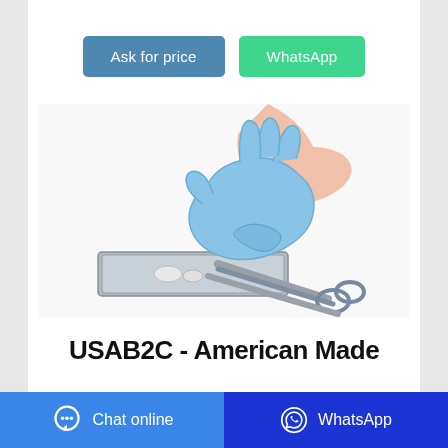[Figure (other): Button: Ask for price (blue/steel background)]
[Figure (other): Button: WhatsApp (green background)]
[Figure (photo): A gloved hand (blue medical glove) picking up surgical forceps/clamps from a metal instrument tray on a white background]
USAB2C - American Made
[Figure (other): Bottom bar with Chat online button (blue) and WhatsApp button (dark blue)]